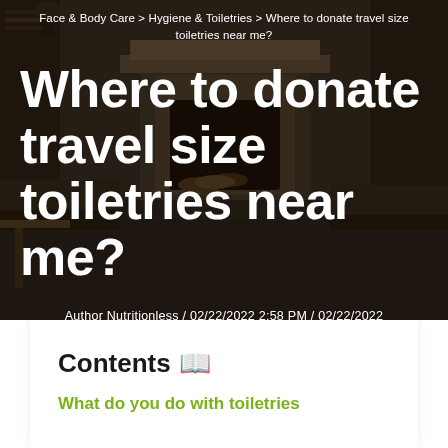Face & Body Care > Hygiene & Toiletries > Where to donate travel size toiletries near me?
Where to donate travel size toiletries near me?
Author Nutritionless / 02/22/2022 2:58 PM / 02/22/2022 2:58 PM
Contents 📖
What do you do with toiletries